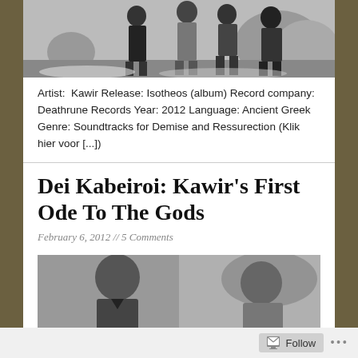[Figure (photo): Black and white photograph of a band/group of people standing outdoors with large rocks or boulders in the background]
Artist:  Kawir Release: Isotheos (album) Record company: Deathrune Records Year: 2012 Language: Ancient Greek Genre: Soundtracks for Demise and Ressurection (Klik hier voor [...])
Dei Kabeiroi: Kawir's First Ode To The Gods
February 6, 2012 // 5 Comments
[Figure (photo): Black and white photograph showing two people, appears to be band members, in outdoor setting]